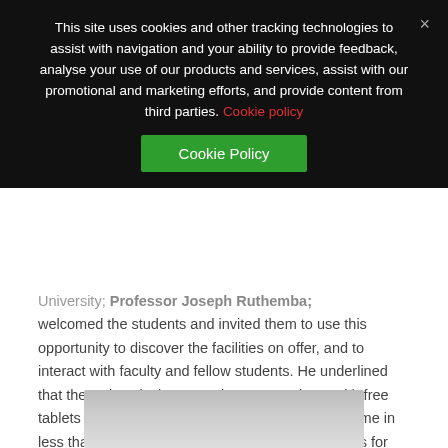This site uses cookies and other tracking technologies to assist with navigation and your ability to provide feedback, analyse your use of our products and services, assist with our promotional and marketing efforts, and provide content from third parties. Cookie policy
Cookie Policy
University; Professor Joseph Ruthemba; welcomed the students and invited them to use this opportunity to discover the facilities on offer, and to interact with faculty and fellow students. He underlined that the University is presenting new students with free tablets and UNICAF scholarships for the second time in less than a year, and he congratulated the students for their smart choice to join Unicaf University, a centre of academic excellence recognised internationally.
[Figure (photo): Partial photo visible at bottom of page, appears to show a table or surface, gray tones]